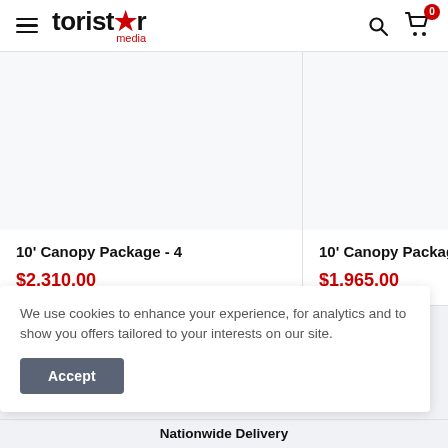toristar media
[Figure (other): Product card image area for 10' Canopy Package - 4 (blank white product image)]
10' Canopy Package - 4
$2,310.00
[Figure (other): Product card image area for 10' Canopy Package (partial, right side, blank white product image)]
10' Canopy Packag
$1,965.00
We use cookies to enhance your experience, for analytics and to show you offers tailored to your interests on our site.
Accept
Nationwide Delivery